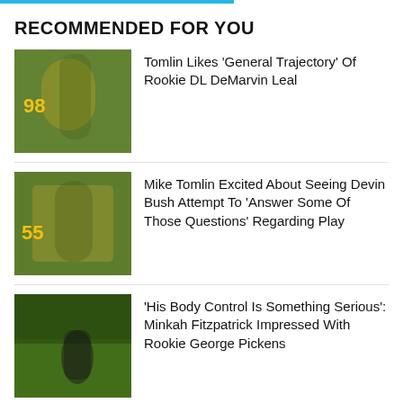RECOMMENDED FOR YOU
[Figure (photo): Two football players in yellow jerseys hugging on field]
Tomlin Likes ‘General Trajectory’ Of Rookie DL DeMarvin Leal
[Figure (photo): Pittsburgh Steelers player number 55 in yellow jersey on field]
Mike Tomlin Excited About Seeing Devin Bush Attempt To ‘Answer Some Of Those Questions’ Regarding Play
[Figure (photo): Football player on green field in action]
‘His Body Control Is Something Serious’: Minkah Fitzpatrick Impressed With Rookie George Pickens
ALSO ON STEELERS DEPOT
[Figure (photo): Thumbnail image 1]
[Figure (photo): Thumbnail image 2]